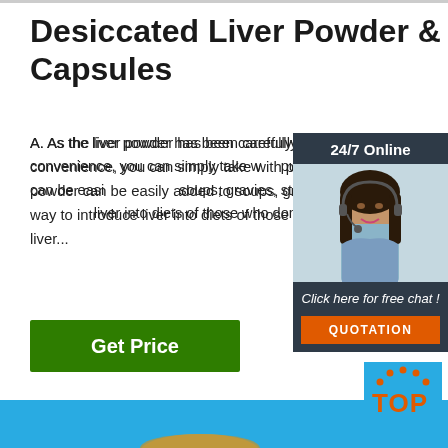Desiccated Liver Powder & Capsules
A. As the liver powder has been carefully placed in capsule form for your convenience, you can simply take with pure water. Alternatively, the powder can be easily added to soups, gravies, stews, broths, etc. A great way to introduce liver into diets of those who don't care for the taste of liver...
[Figure (other): Green 'Get Price' button]
[Figure (photo): 24/7 Online chat widget with woman wearing headset, 'Click here for free chat!' text, and orange QUOTATION button]
[Figure (photo): Blue background section with TOP logo in bottom right and partial product image at bottom]
[Figure (logo): TOP logo with orange dots arranged in arc above the text 'TOP']